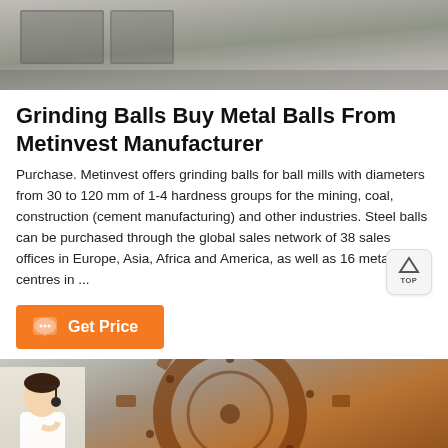[Figure (photo): Top portion of a photo showing an industrial/manufacturing setting with metal structures and equipment, partly cropped at top]
Grinding Balls Buy Metal Balls From Metinvest Manufacturer
Purchase. Metinvest offers grinding balls for ball mills with diameters from 30 to 120 mm of 1-4 hardness groups for the mining, coal, construction (cement manufacturing) and other industries. Steel balls can be purchased through the global sales network of 38 sales offices in Europe, Asia, Africa and America, as well as 16 metal centres in ...
[Figure (other): Orange 'Get Price' button with chat bubble icon]
[Figure (photo): Close-up photo of large industrial gear mechanism (ball mill), brownish-orange in color, with a customer service representative person visible in bottom-left corner, and an orange bottom bar with Message and Online Chat options]